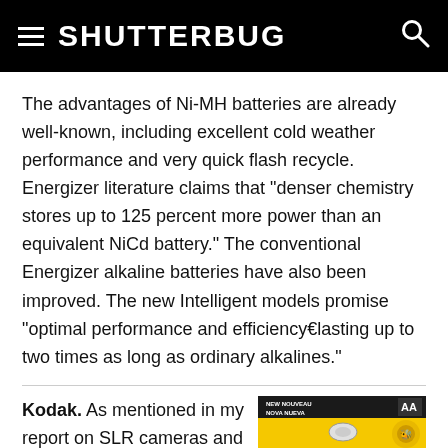SHUTTERBUG
The advantages of Ni-MH batteries are already well-known, including excellent cold weather performance and very quick flash recycle. Energizer literature claims that "denser chemistry stores up to 125 percent more power than an equivalent NiCd battery." The conventional Energizer alkaline batteries have also been improved. The new Intelligent models promise "optimal performance and efficiency€lasting up to two times as long as ordinary alkalines."
Kodak. As mentioned in my report on SLR cameras and
[Figure (photo): Kodak PHOTOLIFE AA battery package, yellow and black packaging with NEW NOUVEAU NOVA NUEVA labels at top]